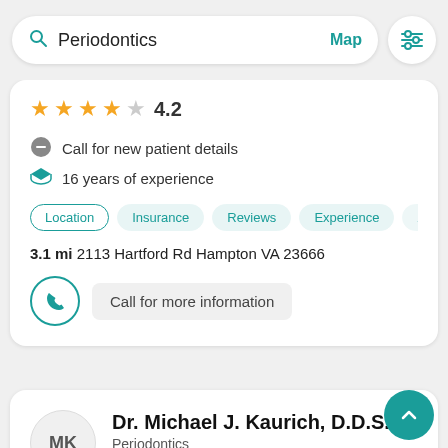[Figure (screenshot): Search bar with search icon, 'Periodontics' text, 'Map' link, and filter icon button]
4.2
Call for new patient details
16 years of experience
Location Insurance Reviews Experience Abo
3.1 mi 2113 Hartford Rd Hampton VA 23666
Call for more information
Dr. Michael J. Kaurich, D.D.S.
Periodontics